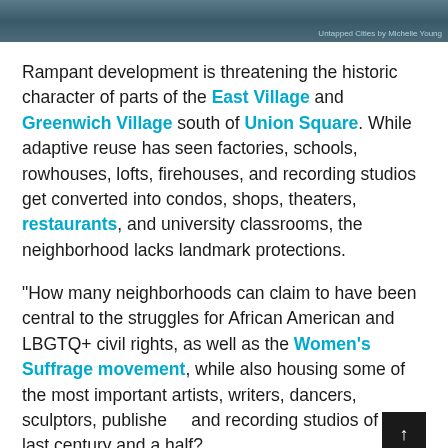[Figure (photo): Dark blue-grey banner image at top of page, with photo credit 'Untapped Cities by Michelle Young' in the bottom right corner]
Rampant development is threatening the historic character of parts of the East Village and Greenwich Village south of Union Square. While adaptive reuse has seen factories, schools, rowhouses, lofts, firehouses, and recording studios get converted into condos, shops, theaters, restaurants, and university classrooms, the neighborhood lacks landmark protections.
"How many neighborhoods can claim to have been central to the struggles for African American and LBGTQ+ civil rights, as well as the Women's Suffrage movement, while also housing some of the most important artists, writers, dancers, sculptors, publishers, and recording studios of the last century and a half? And how does...Executive Director of Village...